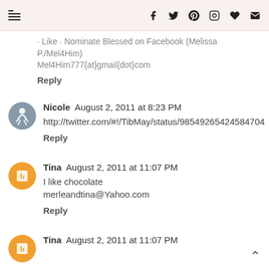Navigation bar with menu icon and social icons: Facebook, Twitter, Pinterest, Instagram, Favorite, Email
... Like · Nominate Blessed on Facebook (Melissa P./Mel4Him)
Mel4Him777{at}gmail{dot}com
Reply
Nicole  August 2, 2011 at 8:23 PM
http://twitter.com/#!/TibMay/status/98549265424584704
Reply
Tina  August 2, 2011 at 11:07 PM
I like chocolate
merleandtina@Yahoo.com
Reply
Tina  August 2, 2011 at 11:07 PM